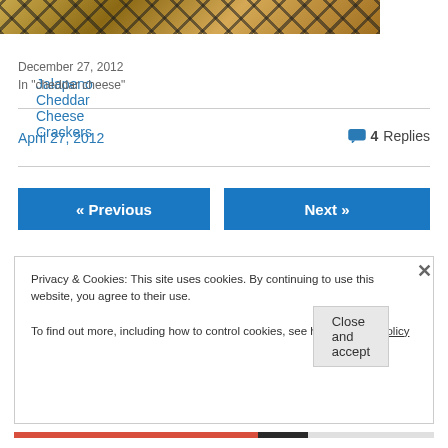[Figure (photo): Food photo of jalapeno cheddar cheese crackers on a grill rack, cropped at top]
Jalapeno Cheddar Cheese Crackers
December 27, 2012
In "cheddar cheese"
April 27, 2012
4 Replies
« Previous
Next »
Privacy & Cookies: This site uses cookies. By continuing to use this website, you agree to their use.
To find out more, including how to control cookies, see here: Cookie Policy
Close and accept